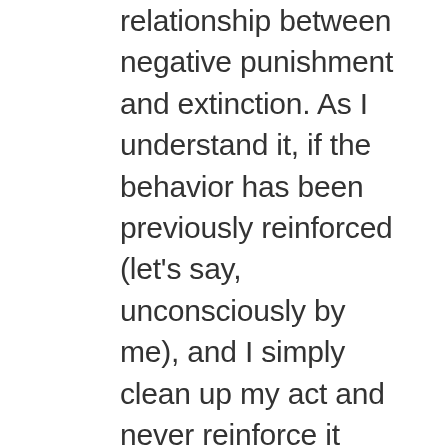relationship between negative punishment and extinction. As I understand it, if the behavior has been previously reinforced (let's say, unconsciously by me), and I simply clean up my act and never reinforce it again, we have extinction. If it decreases. If she is doing it (whether previously reinforced by me or not), and I noticeably remove something, including my attention, then we have negative punishment again. So in the Zani groan example, I think I am trying extinction, since 1) it's been previously reinforced; and 2) my attention